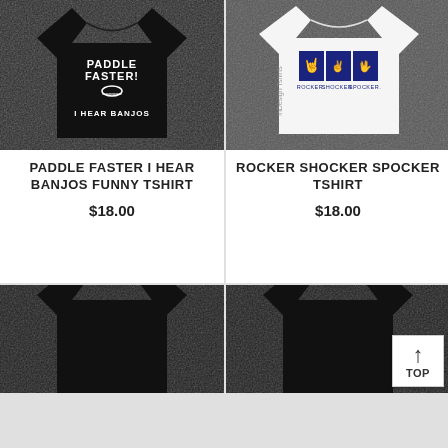[Figure (photo): Black t-shirt with 'PADDLE FASTER! I HEAR BANJOS' text and graphic, on dark textured background]
PADDLE FASTER I HEAR BANJOS FUNNY TSHIRT
$18.00
[Figure (photo): White t-shirt with ROCKER SHOCKER SPOCKER hand signs graphic, on dark background, with 'inDesign Tshirts' watermark]
ROCKER SHOCKER SPOCKER TSHIRT
$18.00
[Figure (photo): Partial view of black t-shirt, bottom row left]
[Figure (photo): Partial view of black t-shirt, bottom row right]